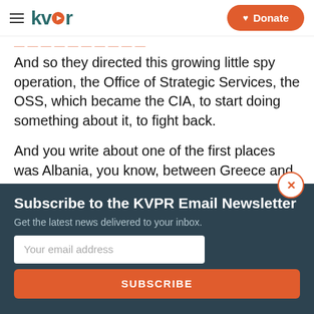kvpr | Donate
And so they directed this growing little spy operation, the Office of Strategic Services, the OSS, which became the CIA, to start doing something about it, to fight back.
And you write about one of the first places was Albania, you know, between Greece and
Subscribe to the KVPR Email Newsletter
Get the latest news delivered to your inbox.
Your email address
SUBSCRIBE